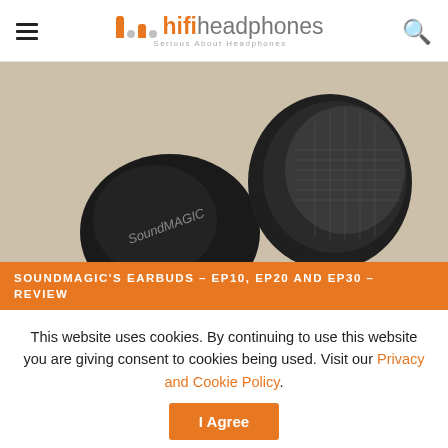hifiheadphones — Serious About Headphones
[Figure (photo): Close-up photo of SoundMAGIC earbuds (black in-ear headphones) on a beige textured surface]
SOUNDMAGIC'S EARBUDS – EP10, EP20 AND EP30 – REVIEW
This website uses cookies. By continuing to use this website you are giving consent to cookies being used. Visit our Privacy and Cookie Policy.
I Agree